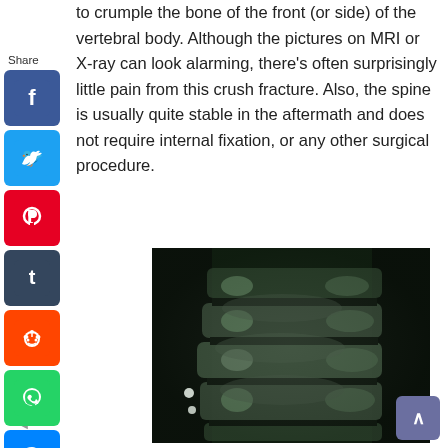to crumple the bone of the front (or side) of the vertebral body. Although the pictures on MRI or X-ray can look alarming, there's often surprisingly little pain from this crush fracture. Also, the spine is usually quite stable in the aftermath and does not require internal fixation, or any other surgical procedure.
[Figure (photo): X-ray image of the lumbar spine showing vertebral bodies in lateral view, with dark background and visible spine structures.]
[Figure (infographic): Social media share buttons sidebar including Facebook, Twitter, Pinterest, Tumblr, Reddit, WhatsApp, and Messenger icons with a Share label.]